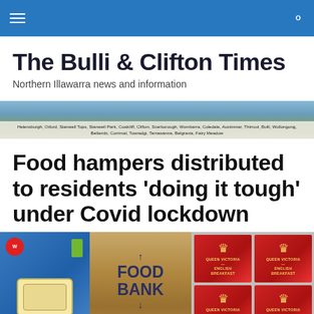Navigation bar with hamburger menu and search icon
The Bulli & Clifton Times
Northern Illawarra news and information
[Figure (photo): Panoramic banner photo of Northern Illawarra region showing hills and coastline with suburb names overlay: Helensburgh, Otford, Stanwell Tops, Stanwell Park, Coalcliff, Clifton, Scarborough, Wombarra, Coledale, Austinmer, Thirroul, Bulli, Wollongong, Bellambi, Corrimal, Towradgi, Tarrawanna, Belgravia, Fairy Meadow]
Food hampers distributed to residents 'doing it tough' under Covid lockdown
[Figure (photo): Photo of food bank items including a blue Wheat biscuit box, a cardboard Food Bank box with 'FIGHTING HUNGER IN AUSTRALIA' text and arrows, and multiple red Queen Victoria branded boxes]